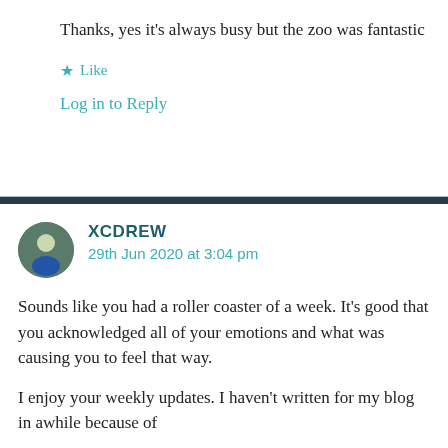Thanks, yes it's always busy but the zoo was fantastic
★ Like
Log in to Reply
XCDREW
29th Jun 2020 at 3:04 pm
Sounds like you had a roller coaster of a week. It's good that you acknowledged all of your emotions and what was causing you to feel that way.
I enjoy your weekly updates. I haven't written for my blog in awhile because of